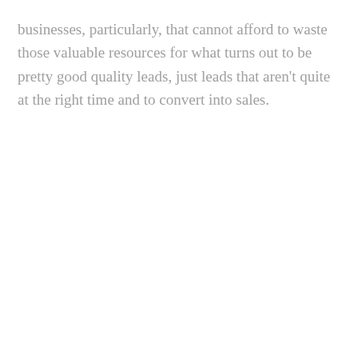businesses, particularly, that cannot afford to waste those valuable resources for what turns out to be pretty good quality leads, just leads that aren't quite at the right time and to convert into sales.